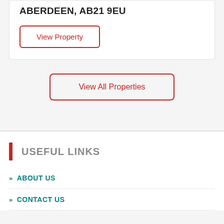ABERDEEN, AB21 9EU
View Property
View All Properties
USEFUL LINKS
>> ABOUT US
>> CONTACT US